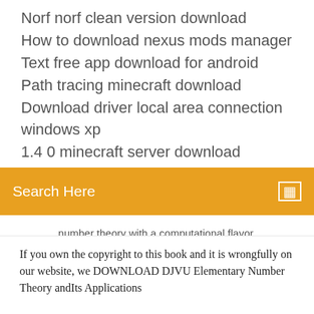Norf norf clean version download
How to download nexus mods manager
Text free app download for android
Path tracing minecraft download
Download driver local area connection windows xp
1.4 0 minecraft server download
[Figure (screenshot): Orange search bar with 'Search Here' placeholder text and a search icon on the right]
number theory with a computational flavor. Hardcover/Paperback 168 pages; eBook PDF (172 pages, 2.6 MB); Language(s): English and Korean Read and Download Links:.
[Figure (infographic): Social media icons: facebook (f), twitter (bird), dribbble (circle with lines), and Behance (Be)]
If you own the copyright to this book and it is wrongfully on our website, we DOWNLOAD DJVU Elementary Number Theory andIts Applications